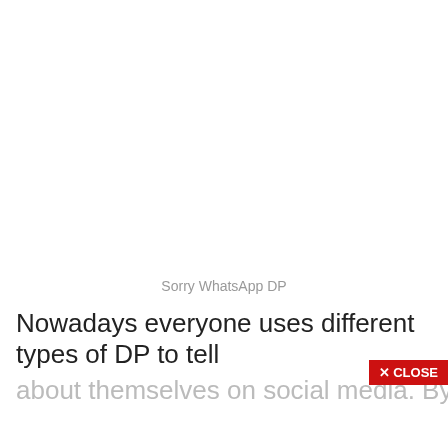Sorry WhatsApp DP
Nowadays everyone uses different types of DP to tell
about themselves on social media. By looking at the
[Figure (screenshot): Close button overlay in top-right corner with red background and white X CLOSE text]